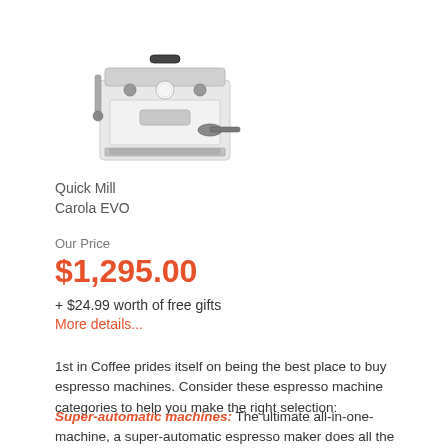[Figure (photo): Product photo of a Quick Mill Carola EVO espresso machine, silver/white, front view showing portafilter and steam wand]
Quick Mill
Carola EVO
Our Price
$1,295.00
+ $24.99 worth of free gifts
More details...
1st in Coffee prides itself on being the best place to buy espresso machines. Consider these espresso machine categories to help you make the right selection:
Super-automatic machines: The ultimate all-in-one-machine, a super-automatic espresso maker does all the work from grinding the beans, pumping the water and frothing the milk. You can produce quality and consistent espresso at the push of a button.